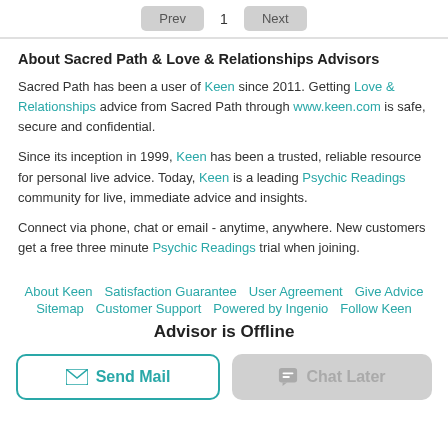Showing Ratings & Reviews 1 - 5
Prev  1  Next
About Sacred Path & Love & Relationships Advisors
Sacred Path has been a user of Keen since 2011. Getting Love & Relationships advice from Sacred Path through www.keen.com is safe, secure and confidential.
Since its inception in 1999, Keen has been a trusted, reliable resource for personal live advice. Today, Keen is a leading Psychic Readings community for live, immediate advice and insights.
Connect via phone, chat or email - anytime, anywhere. New customers get a free three minute Psychic Readings trial when joining.
About Keen  Satisfaction Guarantee  User Agreement  Give Advice  Sitemap  Customer Support  Powered by Ingenio  Follow Keen
Advisor is Offline
Send Mail
Chat Later